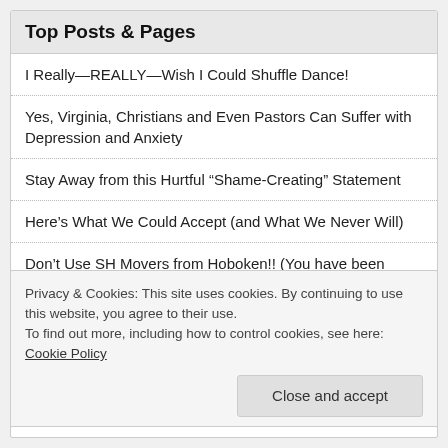Top Posts & Pages
I Really—REALLY—Wish I Could Shuffle Dance!
Yes, Virginia, Christians and Even Pastors Can Suffer with Depression and Anxiety
Stay Away from this Hurtful “Shame-Creating” Statement
Here’s What We Could Accept (and What We Never Will)
Don’t Use SH Movers from Hoboken!! (You have been warned!)
Peace
Privacy & Cookies: This site uses cookies. By continuing to use this website, you agree to their use.
To find out more, including how to control cookies, see here: Cookie Policy
Close and accept